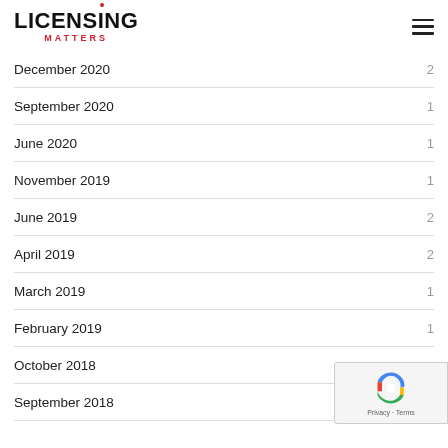LICENSING MATTERS
December 2020  2
September 2020  1
June 2020  1
November 2019  1
June 2019  2
April 2019  2
March 2019  1
February 2019  1
October 2018
September 2018